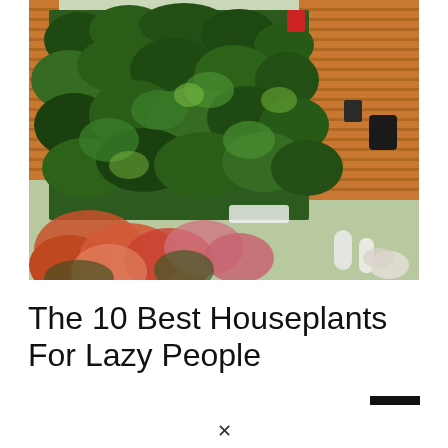[Figure (photo): A lush green vertical plant wall with tropical foliage filling most of the frame. In the foreground are blurred orange and pink flowers and small white decorative objects. Background shows wooden slat panels and glass windows of a building interior.]
The 10 Best Houseplants For Lazy People